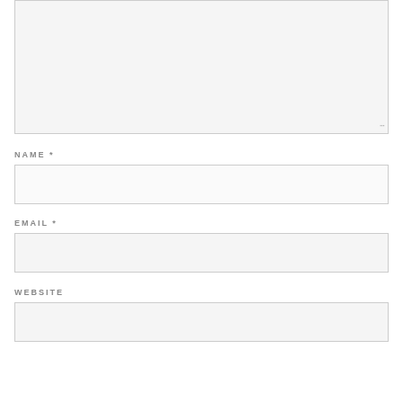[Figure (screenshot): Empty textarea input box with light gray background and resize handle at bottom right]
NAME *
[Figure (screenshot): Empty text input field for Name with light gray background]
EMAIL *
[Figure (screenshot): Empty text input field for Email with light gray background]
WEBSITE
[Figure (screenshot): Partially visible empty text input field for Website with light gray background]